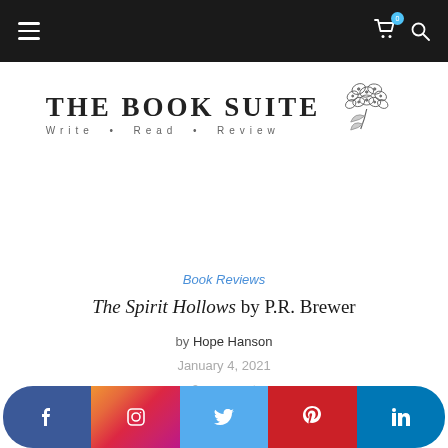The Book Suite — navigation bar with hamburger menu, cart, and search icons
[Figure (logo): The Book Suite logo with text 'THE BOOK SUITE / Write • Read • Review' and a hydrangea flower illustration]
Book Reviews
The Spirit Hollows by P.R. Brewer
by Hope Hanson
January 4, 2021
0 comment
[Figure (infographic): Social media icon bar with Facebook, Instagram, Twitter, Pinterest, and LinkedIn buttons]